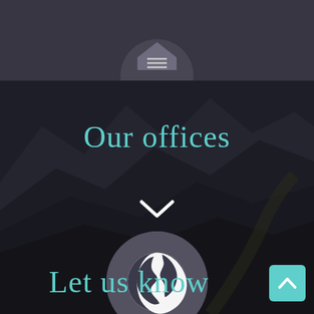[Figure (screenshot): Dark mountainous landscape background with teal and dark UI overlay. Top navigation bar with home/menu icon. Center shows 'Our offices' heading in teal, a downward chevron icon, a globe icon in a dark circle. Bottom shows 'Let us know' in teal with a teal back-to-top button.]
Our offices
Let us know